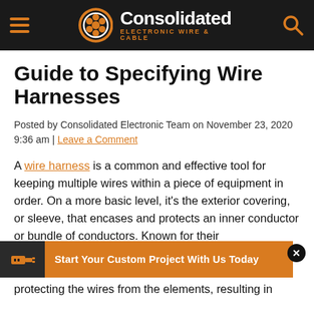[Figure (logo): Consolidated Electronic Wire & Cable company logo with hamburger menu on left and search icon on right, on dark background header bar]
Guide to Specifying Wire Harnesses
Posted by Consolidated Electronic Team on November 23, 2020 9:36 am | Leave a Comment
A wire harness is a common and effective tool for keeping multiple wires within a piece of equipment in order. On a more basic level, it's the exterior covering, or sleeve, that encases and protects an inner conductor or bundle of conductors. Known for their straightforwardness, effectiveness, and low cost, these s… streamline a… protecting the wires from the elements, resulting in
[Figure (infographic): Orange CTA banner reading 'Start Your Custom Project With Us Today' with dark icon box on left and X close button on right]